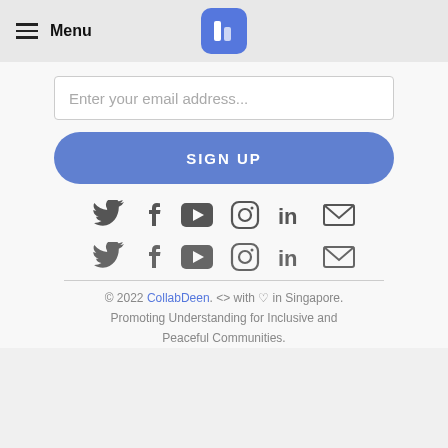Menu
Enter your email address...
SIGN UP
[Figure (illustration): Social media icons row 1: Twitter, Facebook, YouTube, Instagram, LinkedIn, Email]
[Figure (illustration): Social media icons row 2: Twitter, Facebook, YouTube, Instagram, LinkedIn, Email]
© 2022 CollabDeen. <> with ♡ in Singapore. Promoting Understanding for Inclusive and Peaceful Communities.